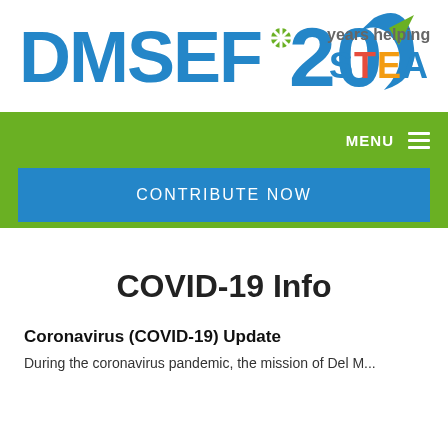[Figure (logo): DMSEF 20 years helping fund STEAM+ logo with colorful text and star/arrow graphic]
MENU ☰
CONTRIBUTE NOW
COVID-19 Info
Coronavirus (COVID-19) Update
During the coronavirus pandemic, the mission of Del Mar...